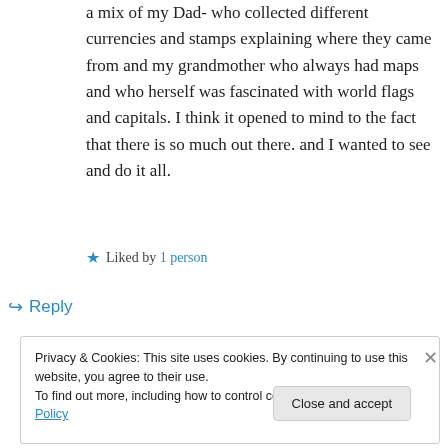a mix of my Dad- who collected different currencies and stamps explaining where they came from and my grandmother who always had maps and who herself was fascinated with world flags and capitals. I think it opened to mind to the fact that there is so much out there. and I wanted to see and do it all.
★ Liked by 1 person
↵ Reply
Privacy & Cookies: This site uses cookies. By continuing to use this website, you agree to their use.
To find out more, including how to control cookies, see here: Cookie Policy